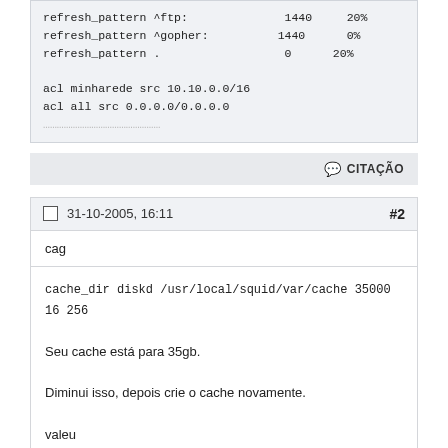refresh_pattern ^ftp:    1440   20%
refresh_pattern ^gopher: 1440   0%
refresh_pattern .        0      20%

acl minharede src 10.10.0.0/16
acl all src 0.0.0.0/0.0.0.0
CITAÇÃO
31-10-2005, 16:11   #2
cag
cache_dir diskd /usr/local/squid/var/cache 35000 16 256

Seu cache está para 35gb.

Diminui isso, depois crie o cache novamente.

valeu